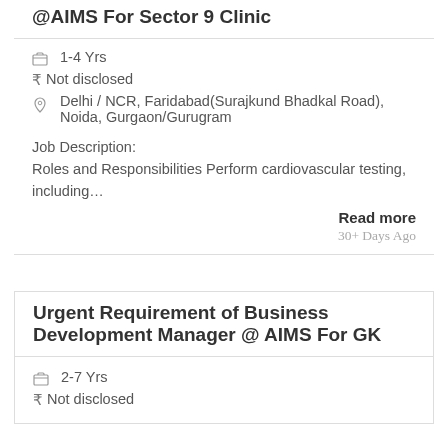@AIMS For Sector 9 Clinic
1-4 Yrs
Not disclosed
Delhi / NCR, Faridabad(Surajkund Bhadkal Road), Noida, Gurgaon/Gurugram
Job Description:
Roles and Responsibilities Perform cardiovascular testing, including…
Read more
30+ Days Ago
Urgent Requirement of Business Development Manager @ AIMS For GK
2-7 Yrs
Not disclosed